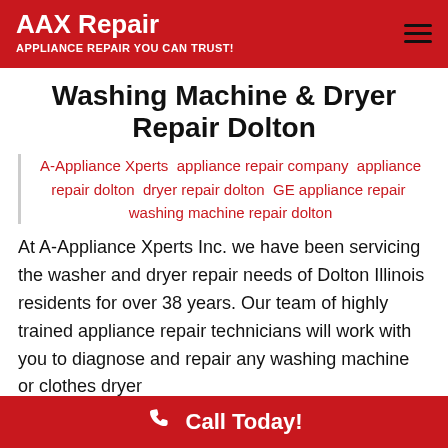AAX Repair — APPLIANCE REPAIR YOU CAN TRUST!
Washing Machine & Dryer Repair Dolton
A-Appliance Xperts  appliance repair company  appliance repair dolton  dryer repair dolton  GE appliance repair  washing machine repair dolton
At A-Appliance Xperts Inc. we have been servicing the washer and dryer repair needs of Dolton Illinois residents for over 38 years. Our team of highly trained appliance repair technicians will work with you to diagnose and repair any washing machine or clothes dryer
Call Today!